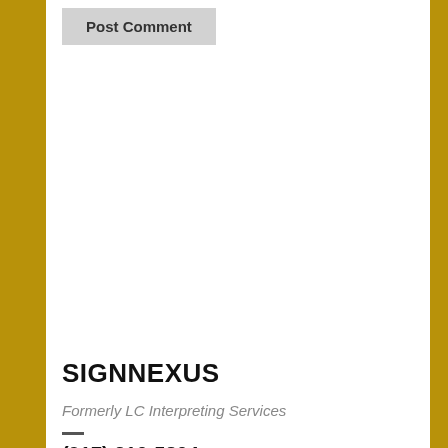Post Comment
SIGNNEXUS
Formerly LC Interpreting Services
(917) 210-5804
Inquiry / Request
RECENT POSTS
Celebrating 30 Years of the ADA!
Remote Communication Access for Those Who are Deaf
Including Deaf and Hard of Hearing Employees During